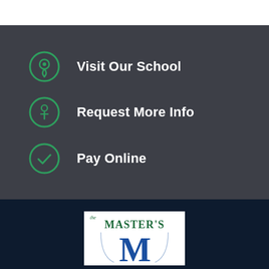Visit Our School
Request More Info
Pay Online
[Figure (logo): The Master's school logo with green text 'the MASTER'S' and large blue M below]